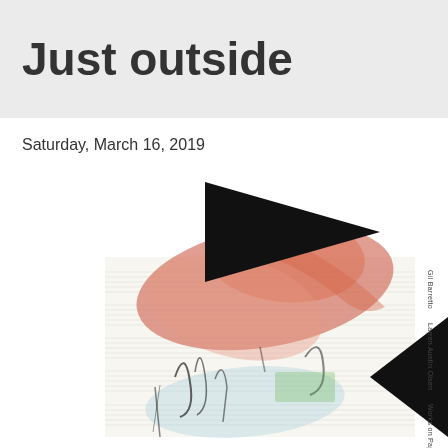Just outside
Saturday, March 16, 2019
[Figure (illustration): Exhibition catalog or artwork cover image featuring abstract mixed-media artwork with collaged paper with musical notation, organic red/orange shapes, scattered dark marks and figures, overlaid with large black triangular geometric shapes. Vertical text on the right reads: Gil Barretto / Larren Austin Olsen / Works on Paper]